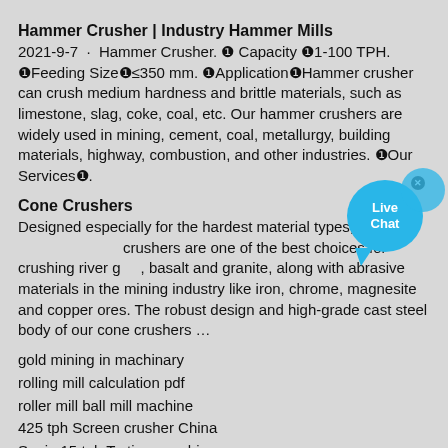Hammer Crusher | Industry Hammer Mills
2021-9-7 · Hammer Crusher. ❶ Capacity ❶1-100 TPH. ❶Feeding Size❶≤350 mm. ❶Application❶Hammer crusher can crush medium hardness and brittle materials, such as limestone, slag, coke, coal, etc. Our hammer crushers are widely used in mining, cement, coal, metallurgy, building materials, highway, combustion, and other industries. ❶Our Services❶.
Cone Crushers
Designed especially for the hardest material types, cone crushers are one of the best choices for crushing river gravel, basalt and granite, along with abrasive materials in the mining industry like iron, chrome, magnesite and copper ores. The robust design and high-grade cast steel body of our cone crushers …
gold mining in machinary
rolling mill calculation pdf
roller mill ball mill machine
425 tph Screen crusher China
Spain 15 tph Tertiary crushing
Ireland Quarry machine 725 tph
Quartz crusher 285 tph Portugal
Mobile cone crusher 20 tph United Arab Emirates
updated mineral granding mill in agra